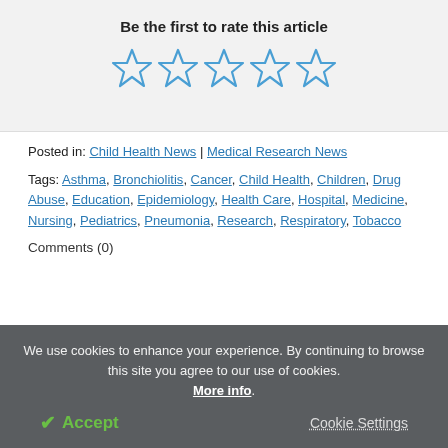Be the first to rate this article
[Figure (other): Five empty star rating icons in blue outline]
Posted in: Child Health News | Medical Research News
Tags: Asthma, Bronchiolitis, Cancer, Child Health, Children, Drug Abuse, Education, Epidemiology, Health Care, Hospital, Medicine, Nursing, Pediatrics, Pneumonia, Research, Respiratory, Tobacco
Comments (0)
We use cookies to enhance your experience. By continuing to browse this site you agree to our use of cookies. More info.
✔ Accept
Cookie Settings